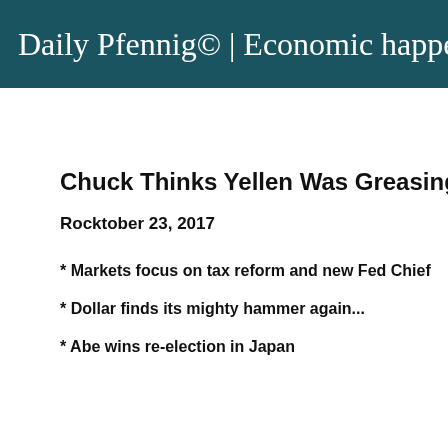Daily Pfennig© | Economic happen
Chuck Thinks Yellen Was Greasing
Rocktober 23, 2017
* Markets focus on tax reform and new Fed Chief
* Dollar finds its mighty hammer again...
* Abe wins re-election in Japan